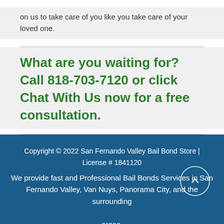on us to take care of you like you take care of your loved one.
What are you waiting for? Call 818-703-7120 or click Chat With Us now for a free consultation.
Copyright © 2022 San Fernando Valley Bail Bond Store | License # 1841120
We provide fast and Professional Bail Bonds Services in San Fernando Valley, Van Nuys, Panorama City, and the surrounding areas.